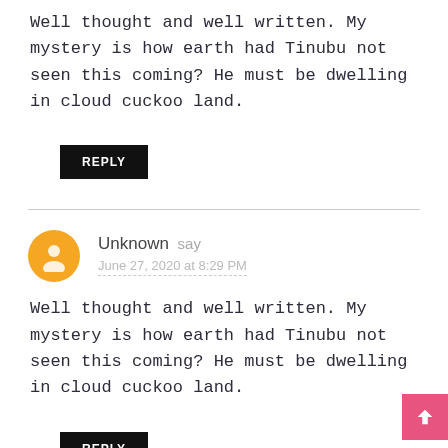Well thought and well written. My mystery is how earth had Tinubu not seen this coming? He must be dwelling in cloud cuckoo land.
REPLY
Unknown say
June 27, 2020 at 8:29 PM
Well thought and well written. My mystery is how earth had Tinubu not seen this coming? He must be dwelling in cloud cuckoo land.
REPLY
Unknown say
June 27, 2020 at 8:29 PM